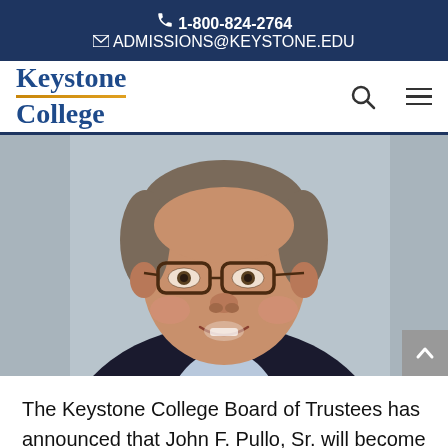1-800-824-2764
ADMISSIONS@KEYSTONE.EDU
[Figure (logo): Keystone College logo with serif text and orange underline]
[Figure (photo): Portrait photograph of a smiling middle-aged man with glasses, wearing a dark blazer and light blue shirt, against a grey background]
The Keystone College Board of Trustees has announced that John F. Pullo, Sr. will become the college's interim president,